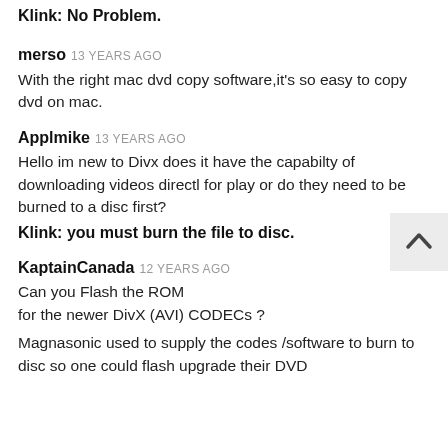Klink: No Problem.
merso 13 YEARS AGO
With the right mac dvd copy software,it's so easy to copy dvd on mac.
Applmike 13 YEARS AGO
Hello im new to Divx does it have the capabilty of downloading videos directl for play or do they need to be burned to a disc first?
Klink: you must burn the file to disc.
KaptainCanada 12 YEARS AGO
Can you Flash the ROM
for the newer DivX (AVI) CODECs ?
Magnasonic used to supply the codes /software to burn to disc so one could flash upgrade their DVD